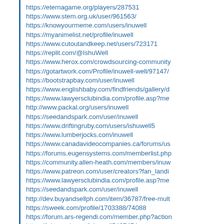https://eternagame.org/players/287531
https://www.stem.org.uk/user/961563/
https://knowyourmeme.com/users/inuwell
https://myanimelist.net/profile/inuwell
https://www.cutoutandkeep.net/users/723171
https://replit.com/@IshuWell
https://www.herox.com/crowdsourcing-community...
https://gotartwork.com/Profile/inuwell-well/97147/...
https://bootstrapbay.com/user/inuwell
https://www.englishbaby.com/findfriends/gallery/d...
https://www.lawyersclubindia.com/profile.asp?me...
http://www.packal.org/users/inuwell
https://seedandspark.com/user/inuwell
https://www.driftingruby.com/users/ishuwell5
https://www.lumberjocks.com/inuwell
https://www.canadavideocompanies.ca/forums/us...
https://forums.eugensystems.com/memberlist.php...
https://community.allen-heath.com/members/inuw...
https://www.patreon.com/user/creators?fan_landi...
https://www.lawyersclubindia.com/profile.asp?me...
https://seedandspark.com/user/inuwell
http://dev.buyandsellph.com/item/36787/free-mult...
https://sweek.com/profile/1703388/74088
https://forum.ars-regendi.com/member.php?action...
https://ioby.org/users/ishuwell5467474